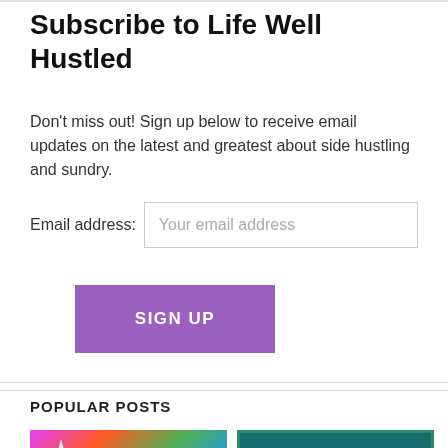Subscribe to Life Well Hustled
Don't miss out! Sign up below to receive email updates on the latest and greatest about side hustling and sundry.
Email address: [Your email address input field]
SIGN UP
POPULAR POSTS
[Figure (photo): Colorful tie-dye background with a white star burst icon and a card reading 'how i side-hustle as a...']
[Figure (photo): Dark teal background with gold/yellow text reading 'How I Avoided a Money Scam']